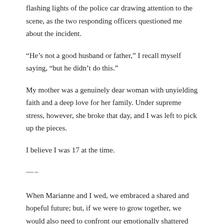flashing lights of the police car drawing attention to the scene, as the two responding officers questioned me about the incident.
“He’s not a good husband or father,” I recall myself saying, “but he didn’t do this.”
My mother was a genuinely dear woman with unyielding faith and a deep love for her family. Under supreme stress, however, she broke that day, and I was left to pick up the pieces.
I believe I was 17 at the time.
—–
When Marianne and I wed, we embraced a shared and hopeful future; but, if we were to grow together, we would also need to confront our emotionally shattered pasts.
—–